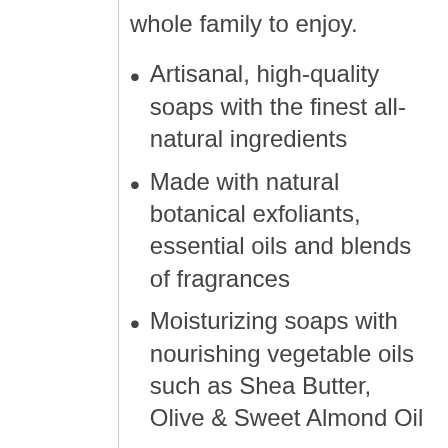whole family to enjoy.
Artisanal, high-quality soaps with the finest all-natural ingredients
Made with natural botanical exfoliants, essential oils and blends of fragrances
Moisturizing soaps with nourishing vegetable oils such as Shea Butter, Olive & Sweet Almond Oil
Beneficial for all skin types, especially dry or